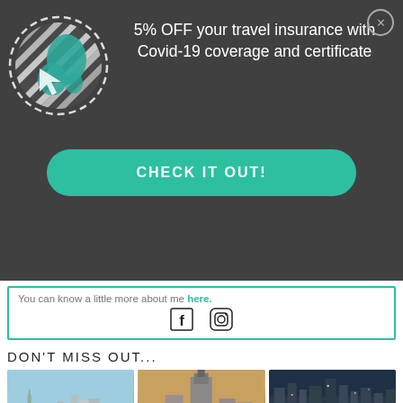[Figure (infographic): Dark modal popup overlay with globe illustration, promotional text '5% OFF your travel insurance with Covid-19 coverage and certificate', and a teal 'CHECK IT OUT!' CTA button]
You can know a little more about me here.
[Figure (illustration): Facebook and Instagram social media icons]
DON'T MISS OUT...
[Figure (photo): Three travel destination photos: Statue of Liberty with NYC skyline, Empire State Building skyline, aerial NYC at sunset]